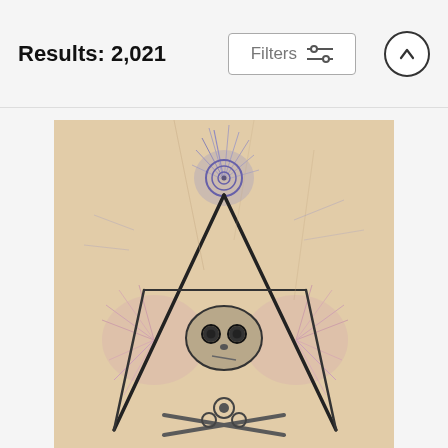Results: 2,021
[Figure (illustration): Decorative illustration showing a skull and crossbones motif with Masonic-style compass/square tools forming a triangle, overlaid with purple and pink star-burst ink splatter effects on a aged parchment background with gears incorporated into the skull.]